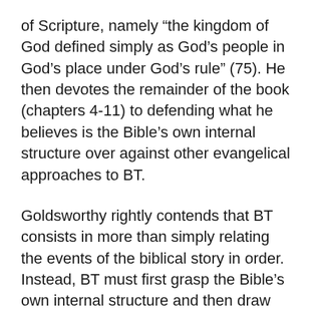of Scripture, namely “the kingdom of God defined simply as God’s people in God’s place under God’s rule” (75). He then devotes the remainder of the book (chapters 4-11) to defending what he believes is the Bible’s own internal structure over against other evangelical approaches to BT.
Goldsworthy rightly contends that BT consists in more than simply relating the events of the biblical story in order. Instead, BT must first grasp the Bible’s own internal structure and then draw conclusions based on how the Bible unfolds on its own terms. Given the lack of consensus among evangelicals on how the Bible is put together, Goldsworthy proposes that the “Robinson-Hebert” scheme best reflects the Bible’s structure. The rest of the book defends this scheme. In chapters 4-5,